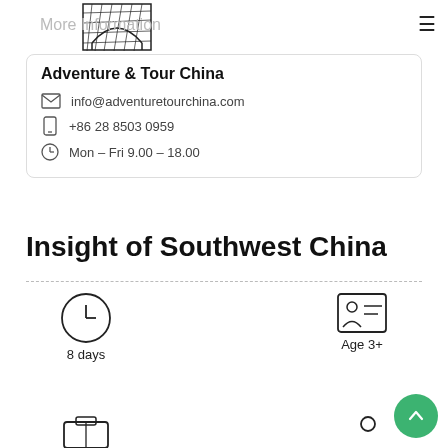More Information
Adventure & Tour China
info@adventuretourchina.com
+86 28 8503 0959
Mon – Fri 9.00 – 18.00
Insight of Southwest China
8 days
Age 3+